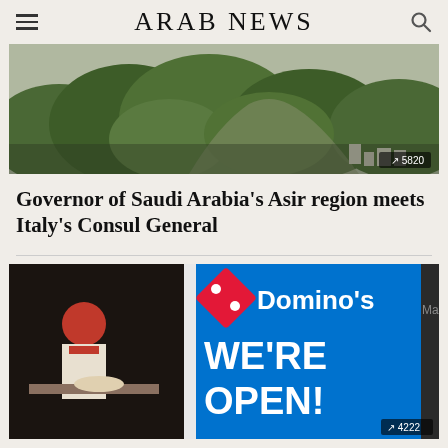ARAB NEWS
[Figure (photo): Aerial view of Asir region landscape with trees and buildings]
Governor of Saudi Arabia’s Asir region meets Italy’s Consul General
[Figure (photo): Domino’s Pizza storefront sign reading WE’RE OPEN! with workers visible inside]